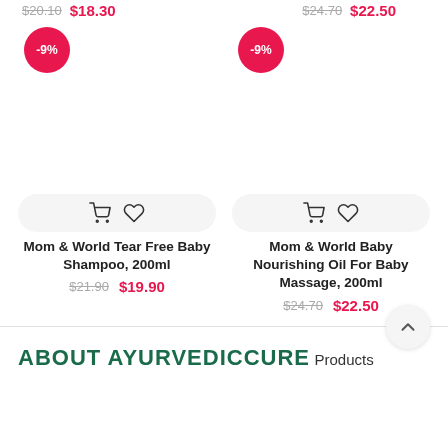$20.10 $18.30 (top left, strikethrough + red) | $24.70 $22.50 (top right, strikethrough + red)
[Figure (screenshot): Product card: Mom & World Tear Free Baby Shampoo, 200ml with -9% badge, cart and wishlist icons, old price $21.90, new price $19.90]
[Figure (screenshot): Product card: Mom & World Baby Nourishing Oil For Baby Massage, 200ml with -9% badge, cart and wishlist icons, old price $24.70, new price $22.50]
Mom & World Tear Free Baby Shampoo, 200ml
$21.90  $19.90
Mom & World Baby Nourishing Oil For Baby Massage, 200ml
$24.70  $22.50
ABOUT AYURVEDICCURE
Products